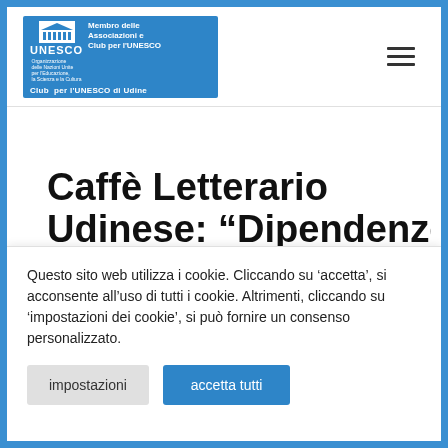[Figure (logo): UNESCO Club per l'UNESCO di Udine logo — blue rectangle with UNESCO columns icon, text 'Membro delle Associazioni e Club per l'UNESCO' and 'Club per l'UNESCO di Udine']
Caffè Letterario Udinese: “Dipendenze
Questo sito web utilizza i cookie. Cliccando su ‘accetta’, si acconsente all’uso di tutti i cookie. Altrimenti, cliccando su ‘impostazioni dei cookie’, si può fornire un consenso personalizzato.
impostazioni
accetta tutti